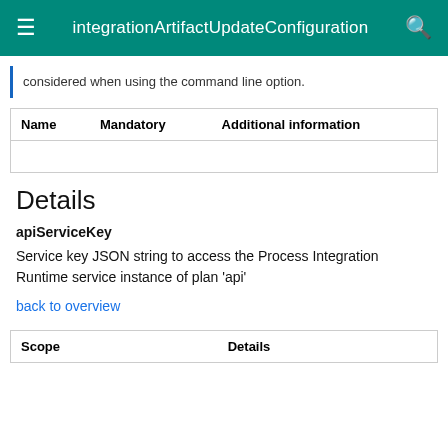integrationArtifactUpdateConfiguration
considered when using the command line option.
| Name | Mandatory | Additional information |
| --- | --- | --- |
|   |   |   |
Details
apiServiceKey
Service key JSON string to access the Process Integration Runtime service instance of plan 'api'
back to overview
| Scope | Details |
| --- | --- |